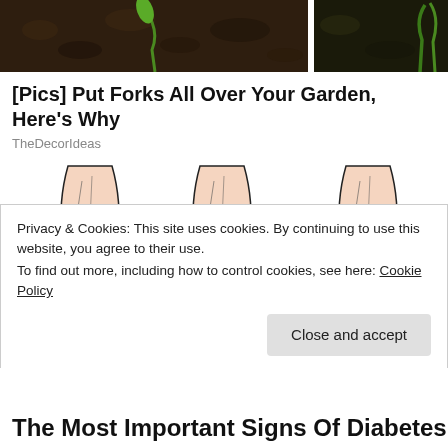[Figure (photo): Top strip showing garden soil with a small green plant sprout, close-up photo]
[Pics] Put Forks All Over Your Garden, Here's Why
TheDecorIdeas
[Figure (illustration): Three medical illustrations of a human leg/knee showing different pain locations highlighted in red, indicating joint pain or diabetes symptoms]
Privacy & Cookies: This site uses cookies. By continuing to use this website, you agree to their use.
To find out more, including how to control cookies, see here: Cookie Policy
The Most Important Signs Of Diabetes